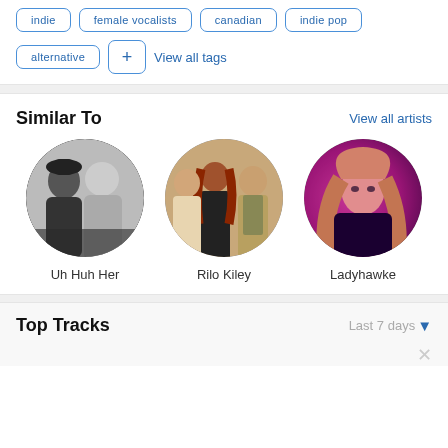indie
female vocalists
canadian
indie pop
alternative
+ View all tags
Similar To
View all artists
[Figure (photo): Black and white photo of two women, artist Uh Huh Her]
Uh Huh Her
[Figure (photo): Photo of a group of people, artist Rilo Kiley]
Rilo Kiley
[Figure (photo): Photo of a woman with pink/magenta lighting, artist Ladyhawke]
Ladyhawke
Top Tracks
Last 7 days